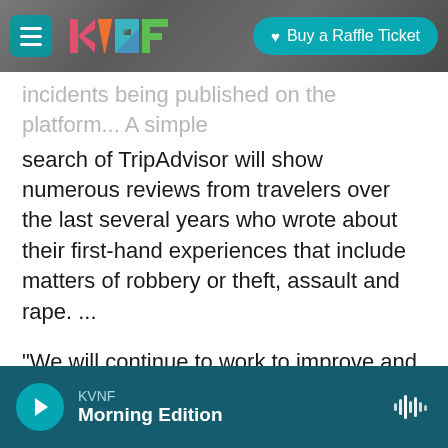KVNF | Buy a Raffle Ticket
incidents being published on the platform... A simple search of TripAdvisor will show numerous reviews from travelers over the last several years who wrote about their first-hand experiences that include matters of robbery or theft, assault and rape. ...
"We will continue to work to improve and evolve our moderation and publishing guidelines as we work to provide the most accurate information in the travel industry available online."
Copyright 2021 NPR. To see more, visit https://www.npr.org
KVNF Morning Edition